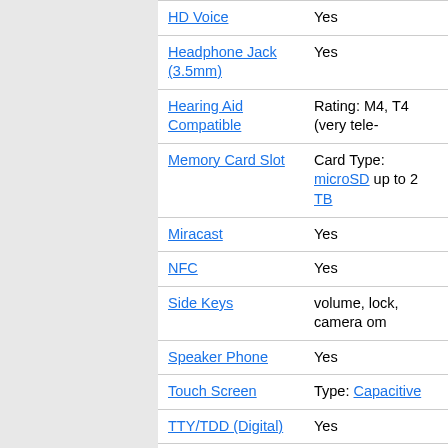| Feature | Details |
| --- | --- |
| HD Voice | Yes |
| Headphone Jack (3.5mm) | Yes |
| Hearing Aid Compatible | Rating: M4, T4 (very tele-... |
| Memory Card Slot | Card Type: microSD up to 2 TB |
| Miracast | Yes |
| NFC | Yes |
| Side Keys | volume, lock, camera om... |
| Speaker Phone | Yes |
| Touch Screen | Type: Capacitive |
| TTY/TDD (Digital) | Yes |
| TV Output | HDMI via USB-C Alt Mo... |
| USB | Connector: USB Type C version 3.1 |
| Wi-Fi | Version: 5 (802.11 a,ac,b... |
| Wireless Charging | Qi standard (and PMA i... |
More